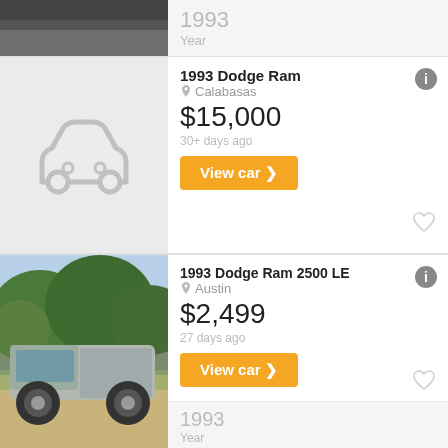[Figure (photo): Top partial car photo strip (gray/dark, partially cropped)]
1993
Year
[Figure (photo): Placeholder car silhouette icon on gray background]
1993 Dodge Ram
Calabasas
$15,000
30+ days ago
View car >
1993
Year
[Figure (photo): Photo of a silver 1993 Dodge Ram 2500 pickup truck parked outdoors with trees in background]
1993 Dodge Ram 2500 LE
Austin
$2,499
27 days ago
View car >
1993
Year
[Figure (photo): Partial photo of trees/foliage for third listing]
1993 Dodge Dakota LE
Hollywood